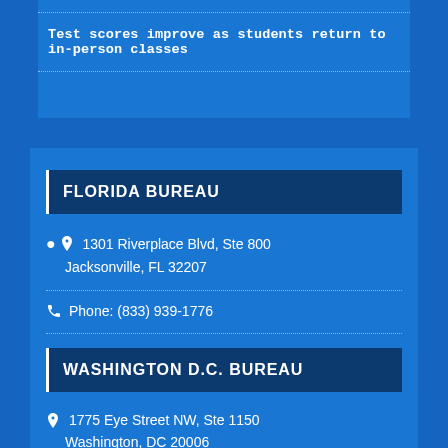Test scores improve as students return to in-person classes
FLORIDA BUREAU
1301 Riverplace Blvd, Ste 800 Jacksonville, FL 32207
Phone: (833) 939-1776
WASHINGTON D.C. BUREAU
1775 Eye Street NW, Ste 1150 Washington, DC 20006